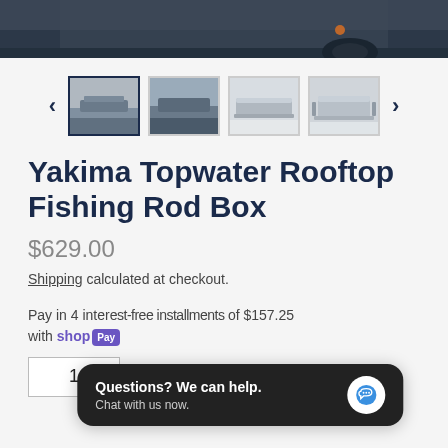[Figure (photo): Top partial image showing a dark road/pavement scene, cropped at the top of the page]
[Figure (photo): Thumbnail carousel with 4 product thumbnails showing Yakima Topwater Rooftop Fishing Rod Box from various angles, flanked by left and right navigation arrows]
Yakima Topwater Rooftop Fishing Rod Box
$629.00
Shipping calculated at checkout.
Pay in 4 interest-free installments of $157.25 with shop Pay
1
[Figure (screenshot): Chat popup overlay with text: 'Questions? We can help. Chat with us now.' with a blue chat bubble icon on a dark background]